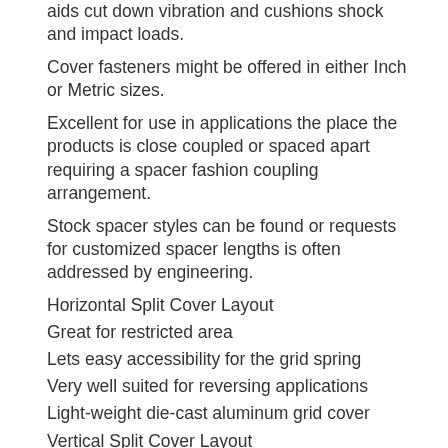aids cut down vibration and cushions shock and impact loads.
Cover fasteners might be offered in either Inch or Metric sizes.
Excellent for use in applications the place the products is close coupled or spaced apart requiring a spacer fashion coupling arrangement.
Stock spacer styles can be found or requests for customized spacer lengths is often addressed by engineering.
Horizontal Split Cover Layout
Great for restricted area
Lets easy accessibility for the grid spring
Very well suited for reversing applications
Light-weight die-cast aluminum grid cover
Vertical Split Cover Layout
Excellent for higher working speeds
Enables simple entry on the grid spring
Cover is manufactured from stamped steel for power